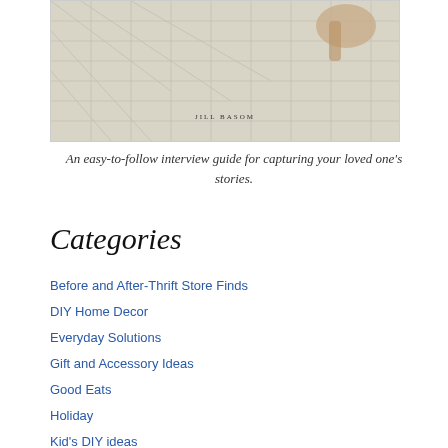[Figure (illustration): Book cover image showing architectural blueprints/drawings with a hand, author name Jill Basom visible]
An easy-to-follow interview guide for capturing your loved one's stories.
Categories
Before and After-Thrift Store Finds
DIY Home Decor
Everyday Solutions
Gift and Accessory Ideas
Good Eats
Holiday
Kid's DIY ideas